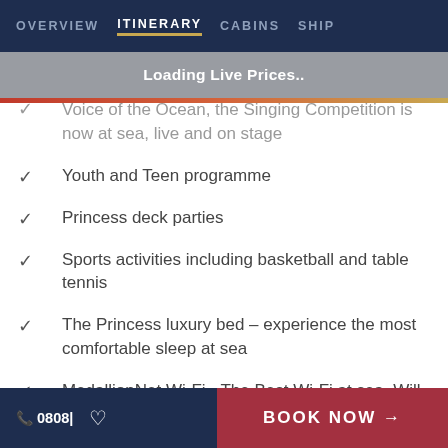OVERVIEW  ITINERARY  CABINS  SHIP
Loading Live Prices..
Voice of the Ocean, the Singing Competition is now at sea, live and on stage
Youth and Teen programme
Princess deck parties
Sports activities including basketball and table tennis
The Princess luxury bed – experience the most comfortable sleep at sea
MedallionNet Wi-Fi - The Best Wi-Fi at sea. Will incur a supplement
ABTA & ATOL Protection
📞 0808| ♡   BOOK NOW →